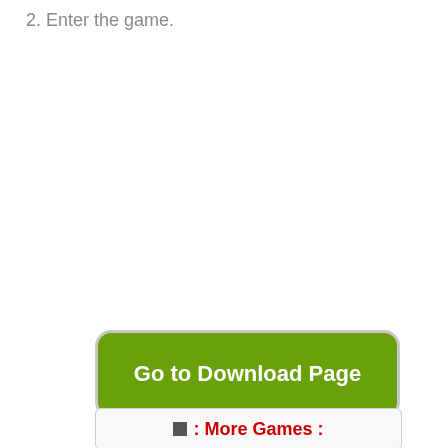2. Enter the game.
Go to Download Page
: More Games :